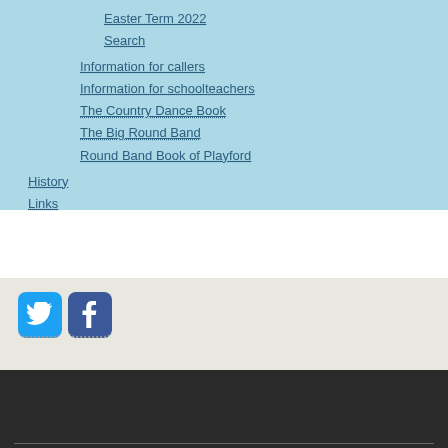Easter Term 2022
Search
Information for callers
Information for schoolteachers
The Country Dance Book
The Big Round Band
Round Band Book of Playford
History
Links
[Figure (logo): Twitter and Facebook social media icon buttons]